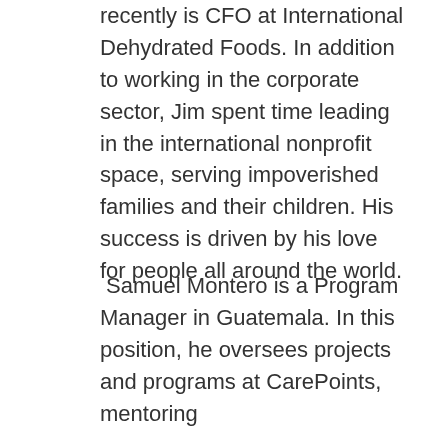recently is CFO at International Dehydrated Foods. In addition to working in the corporate sector, Jim spent time leading in the international nonprofit space, serving impoverished families and their children. His success is driven by his love for people all around the world.
Samuel Montero is a Program Manager in Guatemala. In this position, he oversees projects and programs at CarePoints, mentoring